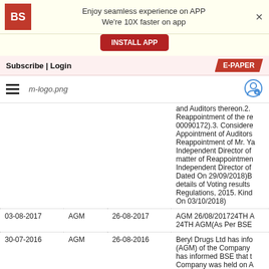[Figure (screenshot): App install banner with BS logo, 'Enjoy seamless experience on APP / We're 10X faster on app' text, and INSTALL APP button]
Subscribe | Login   E-PAPER
[Figure (logo): Hamburger menu icon and m-logo.png business standard logo with user icon]
| Date | Type | Meeting Date | Description |
| --- | --- | --- | --- |
|  |  |  | and Auditors thereon.2. Reappointment of the re 00090172).3. Considere Appointment of Auditors Reappointment of Mr. Ya Independent Director of matter of Reappointmen Independent Director of Dated On 29/09/2018)B details of Voting results Regulations, 2015. Kind On 03/10/2018) |
| 03-08-2017 | AGM | 26-08-2017 | AGM 26/08/201724TH A 24TH AGM(As Per BSE |
| 30-07-2016 | AGM | 26-08-2016 | Beryl Drugs Ltd has info (AGM) of the Company has informed BSE that t Company was held on A Dated on 26.08.2016)Be the Summary of Procee |